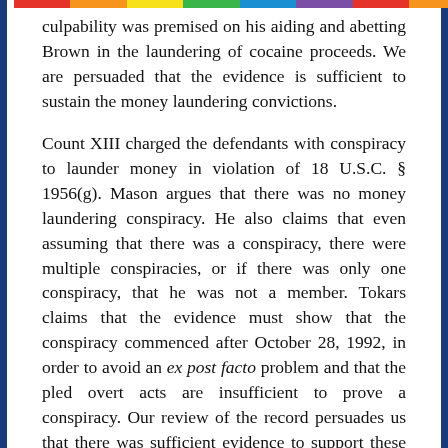culpability was premised on his aiding and abetting Brown in the laundering of cocaine proceeds. We are persuaded that the evidence is sufficient to sustain the money laundering convictions.
Count XIII charged the defendants with conspiracy to launder money in violation of 18 U.S.C. § 1956(g). Mason argues that there was no money laundering conspiracy. He also claims that even assuming that there was a conspiracy, there were multiple conspiracies, or if there was only one conspiracy, that he was not a member. Tokars claims that the evidence must show that the conspiracy commenced after October 28, 1992, in order to avoid an ex post facto problem and that the pled overt acts are insufficient to prove a conspiracy. Our review of the record persuades us that there was sufficient evidence to support these convictions.
Tokars argues that the superseding indictment